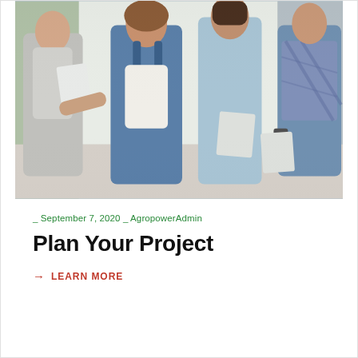[Figure (photo): Four young professionals standing and reviewing documents/papers together, smiling and engaged, in a bright office environment. Women in denim overalls and light blue top, men in gray jacket and plaid shirt.]
_ September 7, 2020 _ AgropowerAdmin
Plan Your Project
→ LEARN MORE